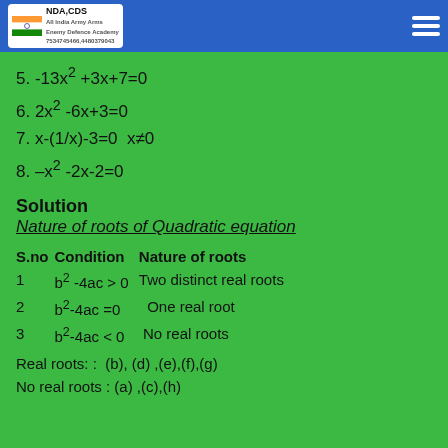NDA CDS (header with logo and hamburger menu)
5. -13x² +3x+7=0
6. 2x² -6x+3=0
7. x-(1/x)-3=0  x≠0
8. –x² -2x-2=0
Solution
Nature of roots of Quadratic equation
| S.no | Condition | Nature of roots |
| --- | --- | --- |
| 1 | b² -4ac > 0 | Two distinct real roots |
| 2 | b²-4ac =0 | One real root |
| 3 | b²-4ac < 0 | No real roots |
Real roots: :  (b), (d) ,(e),(f),(g)
No real roots : (a) ,(c),(h)